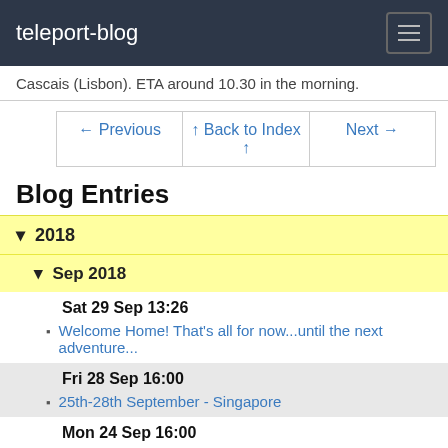teleport-blog
Cascais (Lisbon). ETA around 10.30 in the morning.
Blog Entries
▾ 2018
▾ Sep 2018
Sat 29 Sep 13:26
Welcome Home! That's all for now...until the next adventure...
Fri 28 Sep 16:00
25th-28th September - Singapore
Mon 24 Sep 16:00
Monday 24th September - a walk around Mosman and a visit to the Maritime Museum
Sun 23 Sep 16:00